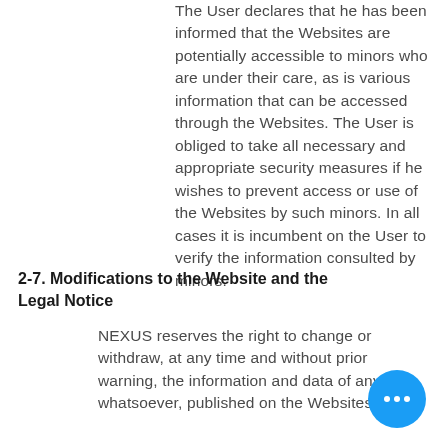The User declares that he has been informed that the Websites are potentially accessible to minors who are under their care, as is various information that can be accessed through the Websites. The User is obliged to take all necessary and appropriate security measures if he wishes to prevent access or use of the Websites by such minors. In all cases it is incumbent on the User to verify the information consulted by minors.
2-7. Modifications to the Website and the Legal Notice
NEXUS reserves the right to change or withdraw, at any time and without prior warning, the information and data of any whatsoever, published on the Websites.